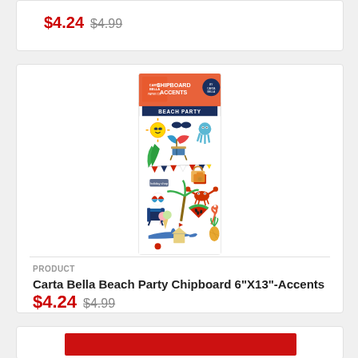$4.24 $4.99
[Figure (photo): Carta Bella Beach Party Chipboard Accents product packaging showing colorful beach-themed sticker/chipboard pieces including sun, octopus, beach chair, shark, crab, watermelon, palm tree, and other summer items]
PRODUCT
Carta Bella Beach Party Chipboard 6"X13"-Accents
$4.24 $4.99